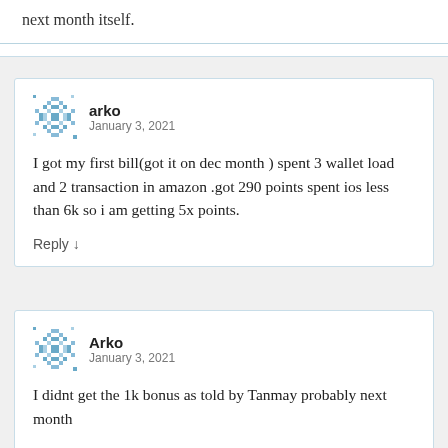next month itself.
arko
January 3, 2021
I got my first bill(got it on dec month ) spent 3 wallet load and 2 transaction in amazon .got 290 points spent ios less than 6k so i am getting 5x points.
Reply
Arko
January 3, 2021
I didnt get the 1k bonus as told by Tanmay probably next month